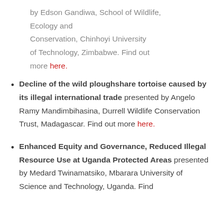by Edson Gandiwa, School of Wildlife, Ecology and Conservation, Chinhoyi University of Technology, Zimbabwe. Find out more here.
Decline of the wild ploughshare tortoise caused by its illegal international trade presented by Angelo Ramy Mandimbihasina, Durrell Wildlife Conservation Trust, Madagascar. Find out more here.
Enhanced Equity and Governance, Reduced Illegal Resource Use at Uganda Protected Areas presented by Medard Twinamatsiko, Mbarara University of Science and Technology, Uganda. Find